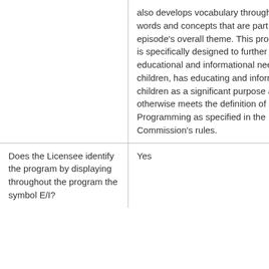| Question | Answer |
| --- | --- |
|  | also develops vocabulary through words and concepts that are part of the episode's overall theme. This program is specifically designed to further the educational and informational needs of children, has educating and informing children as a significant purpose and otherwise meets the definition of Core Programming as specified in the Commission's rules. |
| Does the Licensee identify the program by displaying throughout the program the symbol E/I? | Yes |